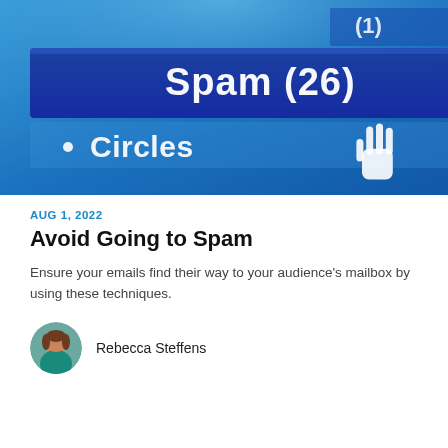[Figure (photo): Close-up screenshot of an email client showing a spam folder label 'Spam (26)' on a blue background, with 'Circles' text and a hand cursor icon visible.]
AUG 1, 2022
Avoid Going to Spam
Ensure your emails find their way to your audience's mailbox by using these techniques.
Rebecca Steffens